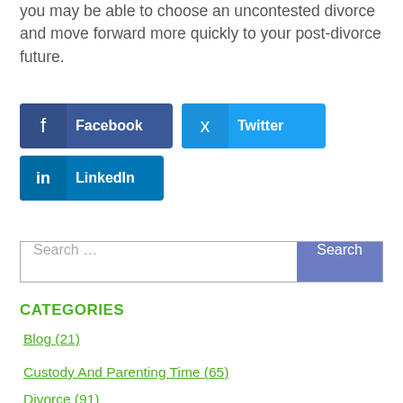you may be able to choose an uncontested divorce and move forward more quickly to your post-divorce future.
[Figure (other): Social share buttons: Facebook (blue), Twitter (cyan), LinkedIn (blue)]
[Figure (other): Search bar with Search button]
CATEGORIES
Blog (21)
Custody And Parenting Time (65)
Divorce (91)